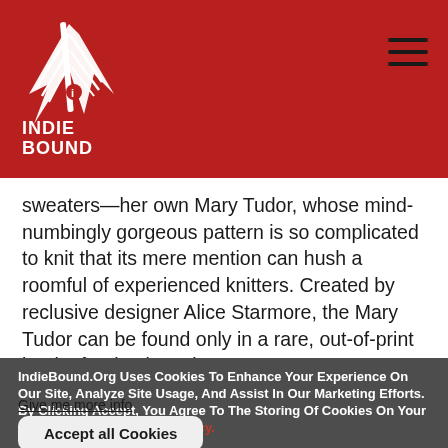[Figure (logo): IndieBound logo: white bird/wing graphic with INDIE BOUND text below, on dark red background]
sweaters—her own Mary Tudor, whose mind-numbingly gorgeous pattern is so complicated to knit that its mere mention can hush a roomful of experienced knitters. Created by reclusive designer Alice Starmore, the Mary Tudor can be found only in a rare, out-of-print book of Fair Isle-style patterns,
IndieBound.Org Uses Cookies To Enhance Your Experience On Our Site, Analyze Site Usage, And Assist In Our Marketing Efforts. By Clicking Accept, You Agree To The Storing Of Cookies On Your Device. View Our Cookie Policy.
Give me more info
Accept all Cookies